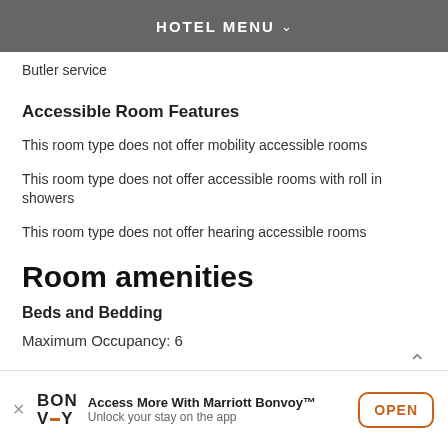HOTEL MENU
Butler service
Accessible Room Features
This room type does not offer mobility accessible rooms
This room type does not offer accessible rooms with roll in showers
This room type does not offer hearing accessible rooms
Room amenities
Beds and Bedding
Maximum Occupancy: 6
Access More With Marriott Bonvoy™ Unlock your stay on the app